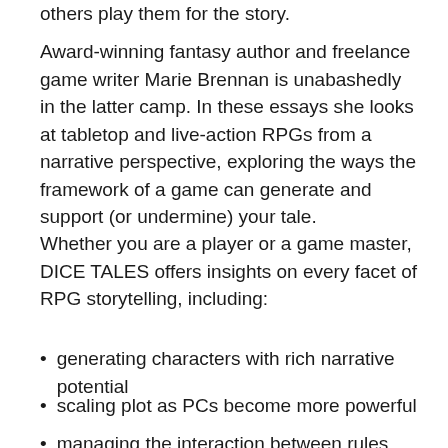others play them for the story.
Award-winning fantasy author and freelance game writer Marie Brennan is unabashedly in the latter camp. In these essays she looks at tabletop and live-action RPGs from a narrative perspective, exploring the ways the framework of a game can generate and support (or undermine) your tale.
Whether you are a player or a game master, DICE TALES offers insights on every facet of RPG storytelling, including:
generating characters with rich narrative potential
scaling plot as PCs become more powerful
managing the interaction between rules and roleplay